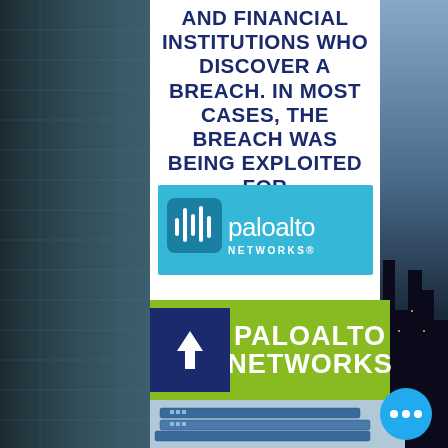AND FINANCIAL INSTITUTIONS WHO DISCOVER A BREACH. IN MOST CASES, THE BREACH WAS BEING EXPLOITED FOR
[Figure (logo): Palo Alto Networks logo on blue background with waveform icon]
[Figure (logo): Palo Alto Networks green banner with dark blue arrow box and upward arrow]
[Figure (photo): Stacked network firewall appliances (blue hardware)]
[Figure (other): Blue chat bubble with three white dots]